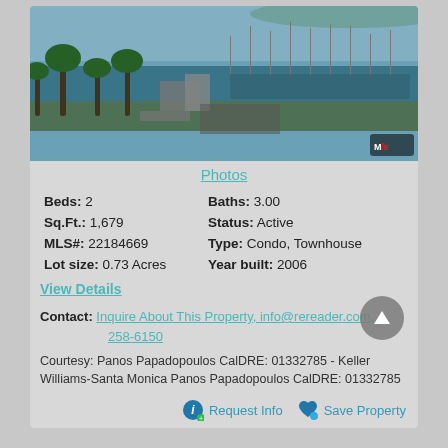[Figure (photo): Aerial view of a marina with boats, palm trees, and waterfront. MLS logo in bottom right corner.]
Photos
Beds: 2   Baths: 3.00
Sq.Ft.: 1,679   Status: Active
MLS#: 22184669   Type: Condo, Townhouse
Lot size: 0.73 Acres   Year built: 2006
View Details
Contact: Inquire About This Property, info@rereader.com, 258-6150
Courtesy: Panos Papadopoulos CalDRE: 01332785 - Keller Williams-Santa Monica Panos Papadopoulos CalDRE: 01332785
Request Info   Save Property